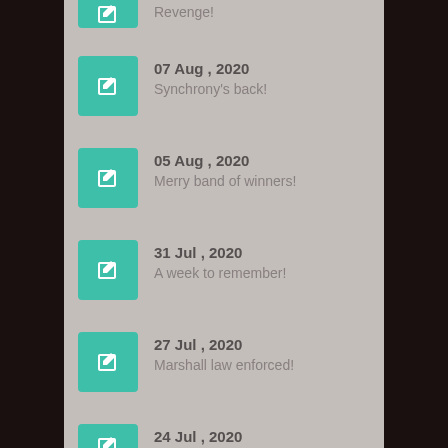Revenge!
07 Aug , 2020 | Synchrony's back!
05 Aug , 2020 | Merry band of winners!
31 Jul , 2020 | A week to remember!
27 Jul , 2020 | Marshall law enforced!
24 Jul , 2020